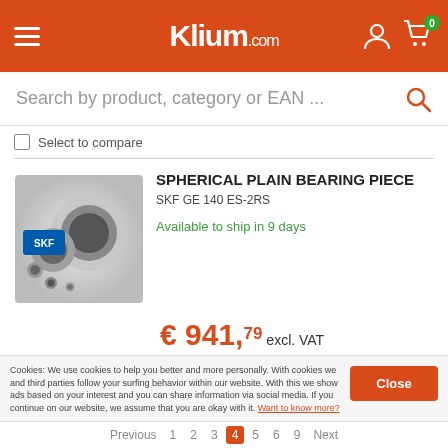Klium.com
Search by product, category or EAN ...
Select to compare
[Figure (photo): Photo of SKF spherical plain bearing components including rings and small bearing parts]
SPHERICAL PLAIN BEARING PIECE
SKF GE 140 ES-2RS
Available to ship in 9 days
€ 941,79 excl. VAT
1 - + Add to cart
Select to compare
Cookies: We use cookies to help you better and more personally. With cookies we and third parties follow your surfing behavior within our website. With this we show ads based on your interest and you can share information via social media. If you continue on our website, we assume that you are okay with it. Want to know more?
Previous 1 2 3 4 5 6 9 Next